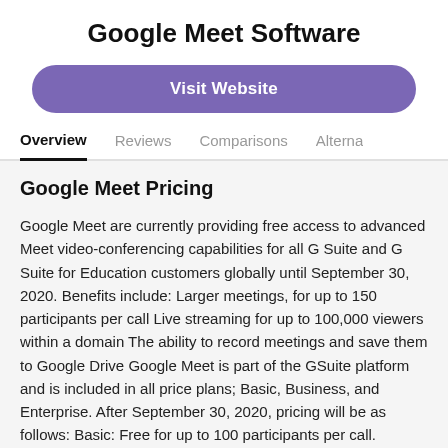Google Meet Software
Visit Website
Overview
Reviews
Comparisons
Alterna
Google Meet Pricing
Google Meet are currently providing free access to advanced Meet video-conferencing capabilities for all G Suite and G Suite for Education customers globally until September 30, 2020. Benefits include: Larger meetings, for up to 150 participants per call Live streaming for up to 100,000 viewers within a domain The ability to record meetings and save them to Google Drive Google Meet is part of the GSuite platform and is included in all price plans; Basic, Business, and Enterprise. After September 30, 2020, pricing will be as follows: Basic: Free for up to 100 participants per call. Business Essentials: $10/active